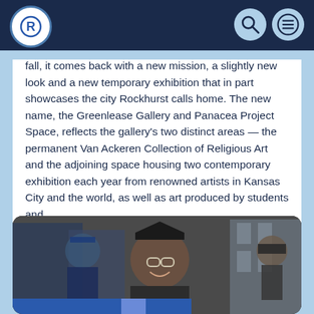Rockhurst University navigation header with logo, search and menu icons
fall, it comes back with a new mission, a slightly new look and a new temporary exhibition that in part showcases the city Rockhurst calls home. The new name, the Greenlease Gallery and Panacea Project Space, reflects the gallery's two distinct areas — the permanent Van Ackeren Collection of Religious Art and the adjoining space housing two contemporary exhibition each year from renowned artists in Kansas City and the world, as well as art produced by students and...
[Figure (photo): A joyful graduating student in black cap and gown with glasses, smiling widely, at a graduation ceremony with other graduates in the background.]